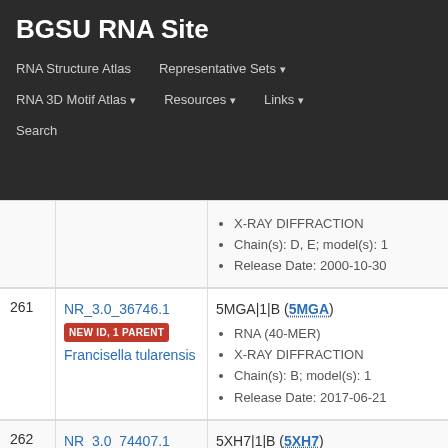BGSU RNA Site
RNA Structure Atlas | Representative Sets ▾ | RNA 3D Motif Atlas ▾ | Resources ▾ | Links ▾ | Search
| # | ID | Info |
| --- | --- | --- |
|  |  | X-RAY DIFFRACTION
Chain(s): D, E; model(s): 1
Release Date: 2000-10-30 |
| 261 | NR_3.0_36746.1
NEW ID, 1 PARENT
Francisella tularensis | 5MGA|1|B (5MGA)
RNA (40-MER)
X-RAY DIFFRACTION
Chain(s): B; model(s): 1
Release Date: 2017-06-21 |
| 262 | NR_3.0_74407.1
EXACT MATCH
Acidaminococcus sp. BV3L6 | 5XH7|1|B (5XH7)
crRNA, RNA (43-MER)
X-RAY DIFFRACTION
Chain(s): B; model(s): 1
Release Date: 2017-06-14 |